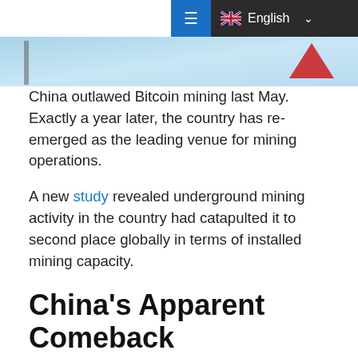≡ English ∨
[Figure (photo): Partial hero image showing a light blue background with a red arrow or shape visible at the right side, cropped at top of page.]
China outlawed Bitcoin mining last May. Exactly a year later, the country has re-emerged as the leading venue for mining operations.
A new study revealed underground mining activity in the country had catapulted it to second place globally in terms of installed mining capacity.
China's Apparent Comeback
Cambridge Centre for Alternative Finance (CCAF) reported the surprising resurgence and further stated that China currently dominates with a 21.11% market share just behind the US with 27.69%. On the other hand, countries that were earlier perceived as stronger Bitcoin mining hubs,